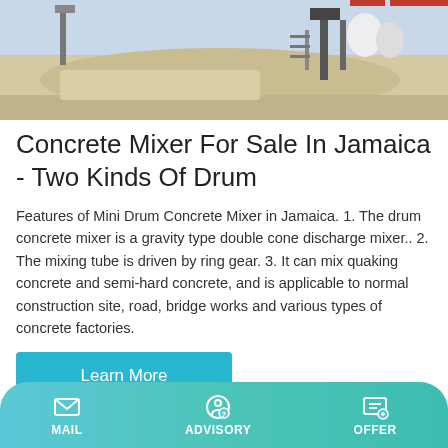[Figure (photo): Top partial image of a concrete batching plant facility with sand/aggregate piles and industrial equipment]
Concrete Mixer For Sale In Jamaica - Two Kinds Of Drum
Features of Mini Drum Concrete Mixer in Jamaica. 1. The drum concrete mixer is a gravity type double cone discharge mixer.. 2. The mixing tube is driven by ring gear. 3. It can mix quaking concrete and semi-hard concrete, and is applicable to normal construction site, road, bridge works and various types of concrete factories.
[Figure (illustration): Blue and white industrial silos/storage tanks with red flags on top, partially visible]
MAIL   ADVISORY   OFFER